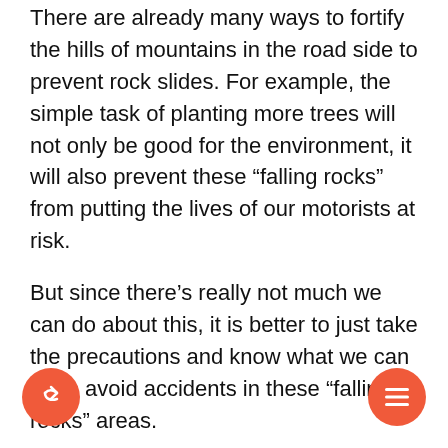There are already many ways to fortify the hills of mountains in the road side to prevent rock slides. For example, the simple task of planting more trees will not only be good for the environment, it will also prevent these “falling rocks” from putting the lives of our motorists at risk.
But since there’s really not much we can do about this, it is better to just take the precautions and know what we can do to avoid accidents in these “falling rocks” areas.
Related article Driver’s Refresher of All Current Road Signs, Symbols and Meaning
If there are alternate routes then it is better to just